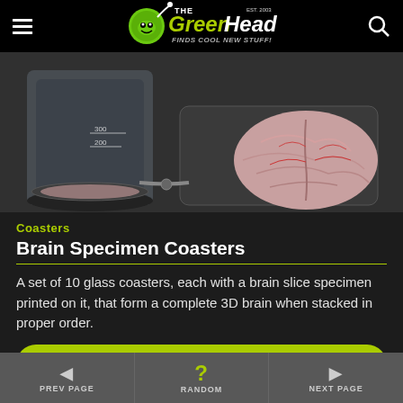The Green Head - Finds Cool New Stuff!
[Figure (photo): Close-up photo of brain specimen coasters on a tray, with a glass placed on one coaster showing the brain slice design]
Coasters
Brain Specimen Coasters
A set of 10 glass coasters, each with a brain slice specimen printed on it, that form a complete 3D brain when stacked in proper order.
▶ Amazon.com*
PREV PAGE | RANDOM | NEXT PAGE